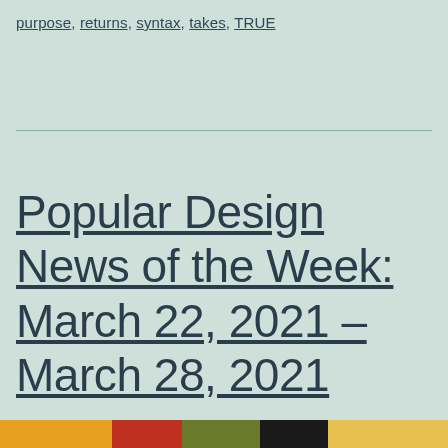purpose, returns, syntax, takes, TRUE
Popular Design News of the Week: March 22, 2021 – March 28, 2021